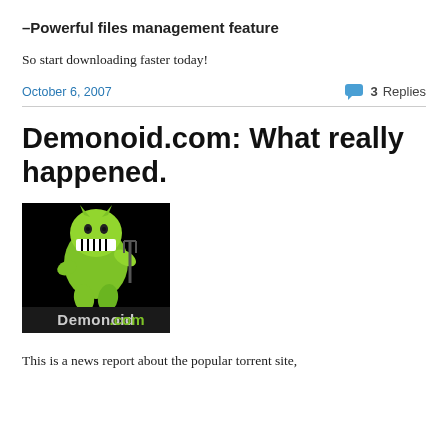–Powerful files management feature
So start downloading faster today!
October 6, 2007    💬 3 Replies
Demonoid.com: What really happened.
[Figure (logo): Demonoid.com logo — a green cartoon devil mascot with fangs holding a pitchfork on a black background, with the text 'Demonoid.com' at the bottom.]
This is a news report about the popular torrent site,